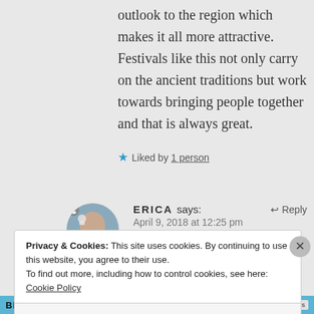outlook to the region which makes it all more attractive. Festivals like this not only carry on the ancient traditions but work towards bringing people together and that is always great.
★ Liked by 1 person
ERICA says: April 9, 2018 at 12:25 pm  ↵ Reply
Privacy & Cookies: This site uses cookies. By continuing to use this website, you agree to their use.
To find out more, including how to control cookies, see here: Cookie Policy
Close and accept